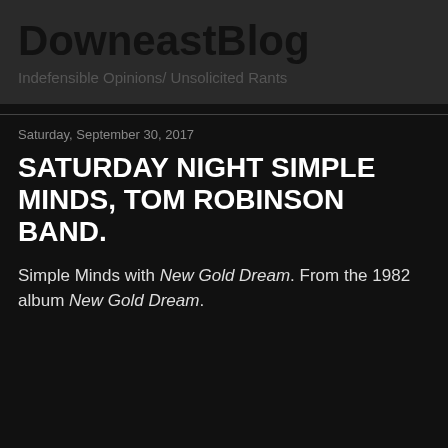DowneastBlog
Indefensible Opinions/ Unsolicited Rants
Saturday, September 30, 2017
SATURDAY NIGHT SIMPLE MINDS, TOM ROBINSON BAND.
Simple Minds with New Gold Dream. From the 1982 album New Gold Dream.